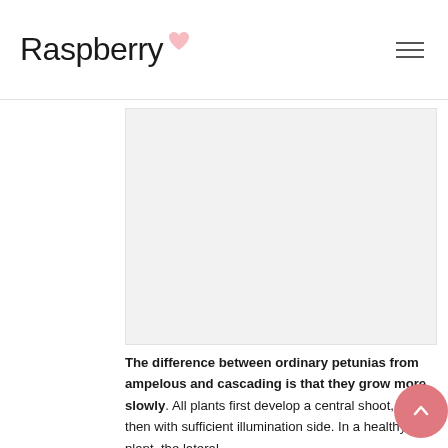Raspberry
[Figure (illustration): Large image placeholder area with light gray background inside a bordered box]
The difference between ordinary petunias from ampelous and cascading is that they grow more slowly. All plants first develop a central shoot, and then with sufficient illumination side. In a healthy plant, the lateral